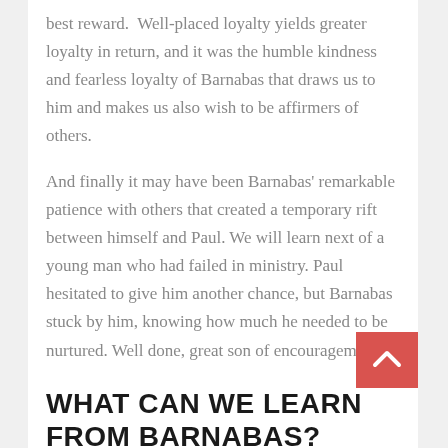best reward.  Well-placed loyalty yields greater loyalty in return, and it was the humble kindness and fearless loyalty of Barnabas that draws us to him and makes us also wish to be affirmers of others.
And finally it may have been Barnabas' remarkable patience with others that created a temporary rift between himself and Paul. We will learn next of a young man who had failed in ministry. Paul hesitated to give him another chance, but Barnabas stuck by him, knowing how much he needed to be nurtured. Well done, great son of encouragement!
WHAT CAN WE LEARN FROM BARNABAS?